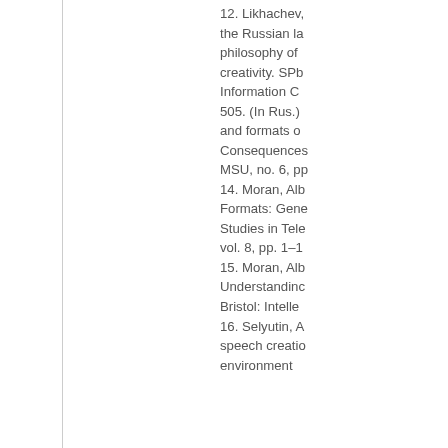12. Likhachev, ... the Russian la... philosophy of ... creativity. SPb... Information C... 505. (In Rus.) ... and formats o... Consequences... MSU, no. 6, pp...
14. Moran, Alb... Formats: Gene... Studies in Tele... vol. 8, pp. 1–1...
15. Moran, Alb... Understanding... Bristol: Intelle...
16. Selyutin, A... speech creatio... environment...